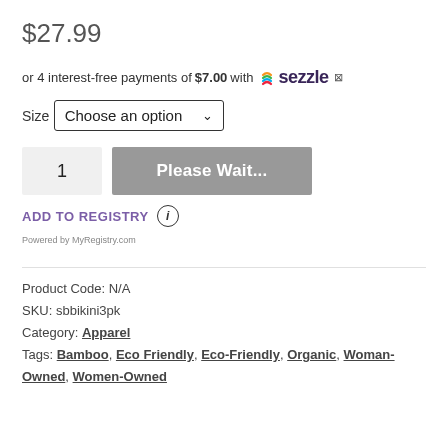$27.99
or 4 interest-free payments of $7.00 with Sezzle ℹ
Size
Choose an option
1  Please Wait...
ADD TO REGISTRY ℹ
Powered by MyRegistry.com
Product Code: N/A
SKU: sbbikini3pk
Category: Apparel
Tags: Bamboo, Eco Friendly, Eco-Friendly, Organic, Woman-Owned, Women-Owned